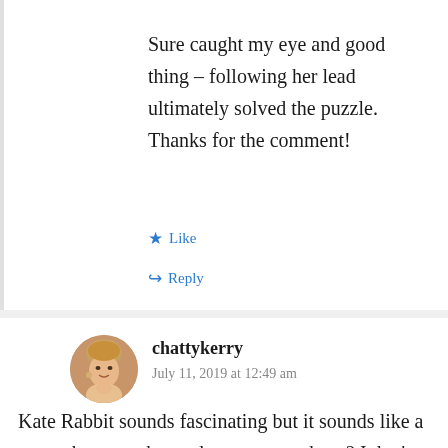Sure caught my eye and good thing – following her lead ultimately solved the puzzle. Thanks for the comment!
★ Like
↪ Reply
chattykerry
July 11, 2019 at 12:49 am
Kate Rabbit sounds fascinating but it sounds like a name that was changed on entry, perhaps? I don't recall any Rabbits while living